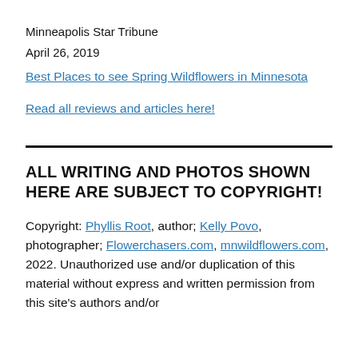Minneapolis Star Tribune
April 26, 2019
Best Places to see Spring Wildflowers in Minnesota
Read all reviews and articles here!
ALL WRITING AND PHOTOS SHOWN HERE ARE SUBJECT TO COPYRIGHT!
Copyright: Phyllis Root, author; Kelly Povo, photographer; Flowerchasers.com, mnwildflowers.com, 2022. Unauthorized use and/or duplication of this material without express and written permission from this site's authors and/or